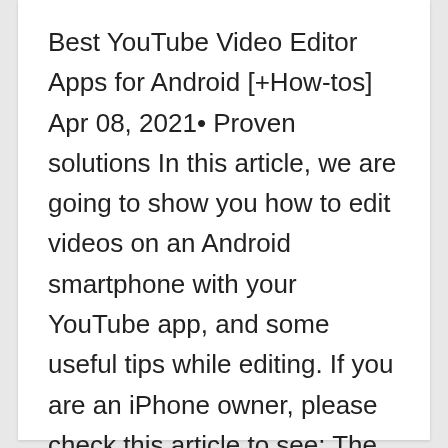Best YouTube Video Editor Apps for Android [+How-tos] Apr 08, 2021• Proven solutions In this article, we are going to show you how to edit videos on an Android smartphone with your YouTube app, and some useful tips while editing. If you are an iPhone owner, please check this article to see: The best video editor for-, not only allows you to cut, crop, rotate, reverse videos,...